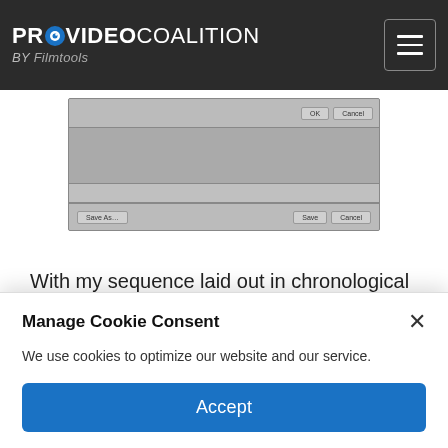PROVIDEO COALITION BY Filmtools
[Figure (screenshot): Screenshot of a software dialog window with Save As, Save, and Cancel buttons]
With my sequence laid out in chronological order, with the audio from the two devices stacked on multiple tracks, I exported the sequence as an AAF file. This is very easy to do.
Manage Cookie Consent
We use cookies to optimize our website and our service.
Accept